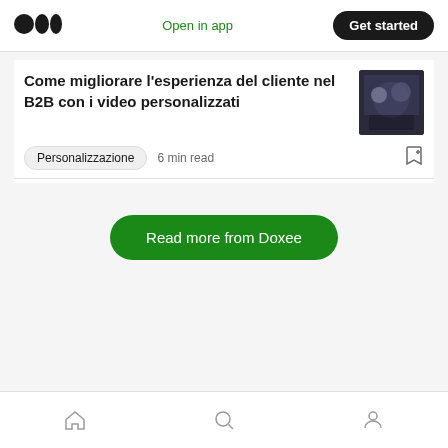Medium — Open in app  Get started
Come migliorare l'esperienza del cliente nel B2B con i video personalizzati
Personalizzazione  6 min read
Read more from Doxee
Recommended from Medium
Home  Search  Profile